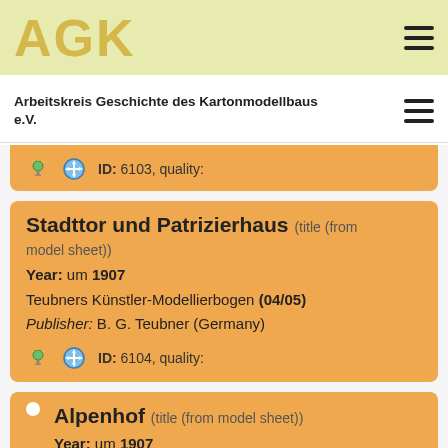AGK
Arbeitskreis Geschichte des Kartonmodellbaus e.V.
ID: 6103, quality:
Stadttor und Patrizierhaus (title (from model sheet))
Year: um 1907
Teubners Künstler-Modellierbogen (04/05)
Publisher: B. G. Teubner (Germany)
ID: 6104, quality:
Alpenhof (title (from model sheet))
Year: um 1907